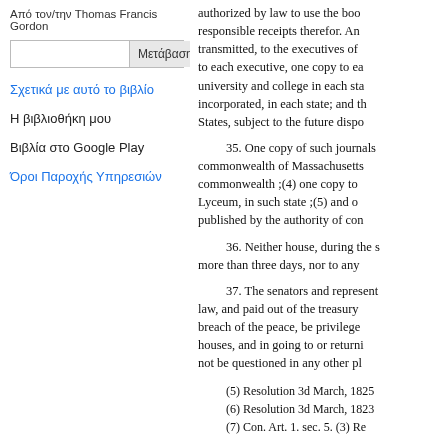Από τον/την Thomas Francis Gordon
Μετάβαση
Σχετικά με αυτό το βιβλίο
Η βιβλιοθήκη μου
Βιβλία στο Google Play
Όροι Παροχής Υπηρεσιών
authorized by law to use the boo responsible receipts therefor. An transmitted, to the executives of to each executive, one copy to ea university and college in each sta incorporated, in each state; and th States, subject to the future dispo
35. One copy of such journals commonwealth of Massachusetts commonwealth ;(4) one copy to Lyceum, in such state ;(5) and o published by the authority of con
36. Neither house, during the s more than three days, nor to any
37. The senators and represent law, and paid out of the treasury breach of the peace, be privilege houses, and in going to or returni not be questioned in any other pl
(5) Resolution 3d March, 1825
(6) Resolution 3d March, 1823
(7) Con. Art. 1. sec. 5. (3) Re